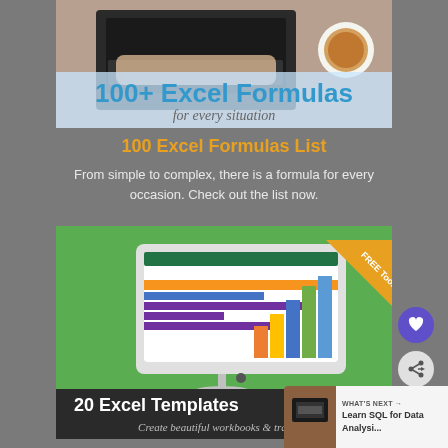[Figure (illustration): Banner image showing '100+ Excel Formulas for every situation' with hands typing on a laptop and a coffee cup]
100 Excel Formulas List
From simple to complex, there is a formula for every occasion. Check out the list now.
[Figure (illustration): Banner image showing '20 Excel Templates – Create beautiful workbooks & trackers' with a monitor displaying Excel with charts and a FREE Tools ribbon badge]